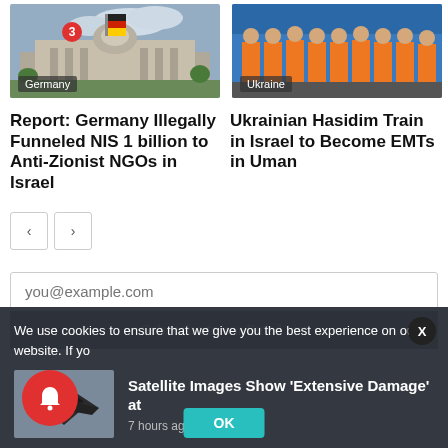[Figure (photo): Photo of the Reichstag building in Berlin with German flag and crowd outside]
[Figure (photo): Group photo of people in orange EMT vests, labeled Ukraine]
Report: Germany Illegally Funneled NIS 1 billion to Anti-Zionist NGOs in Israel
Ukrainian Hasidim Train in Israel to Become EMTs in Uman
you@example.com
Subscribe to our Email List
We use cookies to ensure that we give you the best experience on our website. If yo
[Figure (photo): Thumbnail of military jet aircraft (F-35 like)]
Satellite Images Show 'Extensive Damage' at
7 hours ago
OK